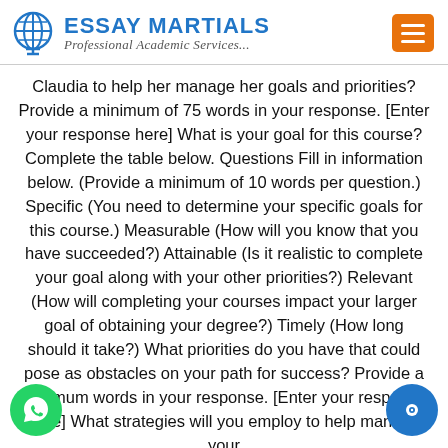ESSAY MARTIALS — Professional Academic Services...
Claudia to help her manage her goals and priorities? Provide a minimum of 75 words in your response. [Enter your response here] What is your goal for this course? Complete the table below. Questions Fill in information below. (Provide a minimum of 10 words per question.) Specific (You need to determine your specific goals for this course.) Measurable (How will you know that you have succeeded?) Attainable (Is it realistic to complete your goal along with your other priorities?) Relevant (How will completing your courses impact your larger goal of obtaining your degree?) Timely (How long should it take?) What priorities do you have that could pose as obstacles on your path for success? Provide a minimum words in your response. [Enter your response here] What strategies will you employ to help manage your